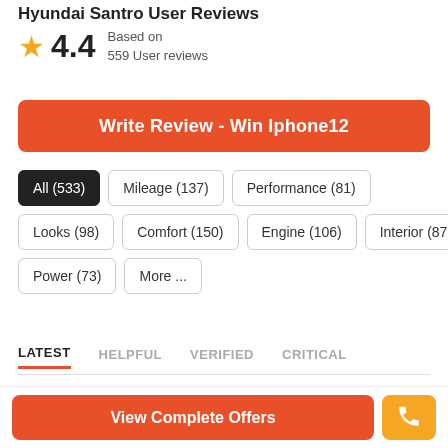Hyundai Santro User Reviews
★ 4.4  Based on 559 User reviews
Write Review - Win Iphone12
All (533)
Mileage (137)
Performance (81)
Looks (98)
Comfort (150)
Engine (106)
Interior (87)
Power (73)
More ...
LATEST  HELPFUL  VERIFIED  CRITICAL
View Complete Offers